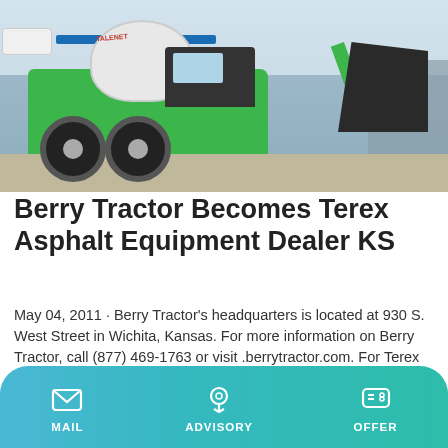[Figure (photo): Green Terex concrete mixer truck with a large black bucket/loader attachment on a construction site, brand logo visible on drum]
Berry Tractor Becomes Terex Asphalt Equipment Dealer KS
May 04, 2011 · Berry Tractor's headquarters is located at 930 S. West Street in Wichita, Kansas. For more information on Berry Tractor, call (877) 469-1763 or visit .berrytractor.com. For Terex mobile asphalt
Learn More
MAIL   ADVISORY   OFFER